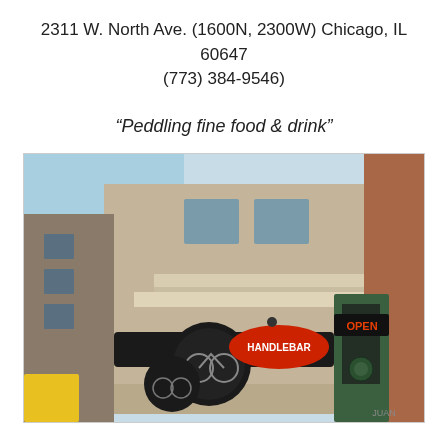2311 W. North Ave. (1600N, 2300W) Chicago, IL 60647
(773) 384-9546)
“Peddling fine food & drink”
[Figure (photo): Exterior street-level photo of the Handlebar bar/restaurant at 2311 W. North Ave., Chicago. The building is a multi-story brick and stone facade. Visible signage includes a round Handlebar sign with a bicycle graphic, a black awning, and a neon OPEN sign. The storefront entrance has a green ornate door frame. A yellow vehicle is partially visible at the lower left.]